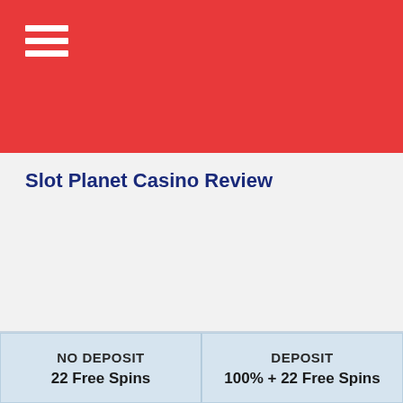Slot Planet Casino Review
| NO DEPOSIT | DEPOSIT |
| --- | --- |
| 22 Free Spins | 100% + 22 Free Spins |